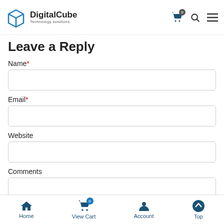Digital Cube Technology solutions
Leave a Reply
Name *
Email *
Website
Comments
Home | View Cart 0 | Account | Top